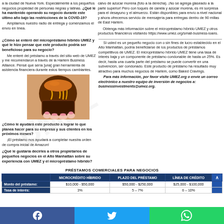a la ciudad de Nueva York. Especialmente a los pequeños negocios propiedad de personas negras y latinas. ¿Qué le ha mantenido operando su negocio durante este último año bajo las restricciones de la COVID-19? Ampliamos nuestro radio de entrega y comenzamos el envío en línea.
calvo de azúcar morena (foto a la derecha). ¡No se agrega glaseado a la parte superior! Pero con toques de canela y azúcar morena, es mi sorpresa para el desayuno y el almuerzo. Están disponibles para envío a nivel nacional y ahora ofrecemos servicio de mensajería para entregas dentro de 90 millas de East Harlem.

Obtenga más información sobre el micropréstamo híbrido UMEZ y otros productos financieros visitando https://www.umez.org/small-business-loans.
¿Cómo se enteró del micropréstamo híbrido UMEZ y qué le hizo pensar que este producto podría ser beneficioso para su negocio?
Me enteré del préstamo a través del sitio web de UMEZ y me recomendaron a través de la Harlem Business Alliance. Pensé que sería [una] gran herramienta de asistencia financiera durante estos tiempos cambiantes.
[Figure (photo): Photo of a cupcake with caramel drizzle on chocolate base held by a hand with pink nails]
Si usted es un pequeño negocio con o sin fines de lucro establecido en el Alto Manhattan, podría beneficiarse de los productos de préstamos competitivos de UMEZ. El micropréstamo híbrido UMEZ tiene una tasa de interés baja y un componente de préstamo condonable de hasta un 25%. Es decir, hasta una cuarta parte del préstamo se puede convertir en una subvención, ser condonado. Este producto de préstamo ha resultado muy atractivo para muchos negocios de Harlem, como Baked Cravings.
Para más información, por favor visite UMEZ.org o envíe un correo electrónico a nuestro equipo de inversión de negocios a: businessinvestments@umez.org.
¿Cómo le ayudará este producto a lograr lo que planea hacer para su empresa y sus clientes en los próximos meses?
¡El préstamo nos ayudará a completar nuestra orden de compra inicial de Amazon!
¿Qué le gustaría decirles a otros propietarios de pequeños negocios en el Alto Manhattan sobre su experiencia con UMEZ y el micropréstamo híbrido?
PRÉSTAMOS COMERCIALES PARA NEGOCIOS
|  | MICROCRÉDITO HÍBRIDO | PLAZO DEL PRÉSTAMO | LÍNEA DE CRÉDITO |
| --- | --- | --- | --- |
| Monto del préstamo: | $10,000 - $50,000 | $50,000 - $250,000 | $25,000 - $100,000 |
| Tasa de interés: | 3% | 5 – 7% | 6 – 10% |
Facebook  Twitter  WhatsApp